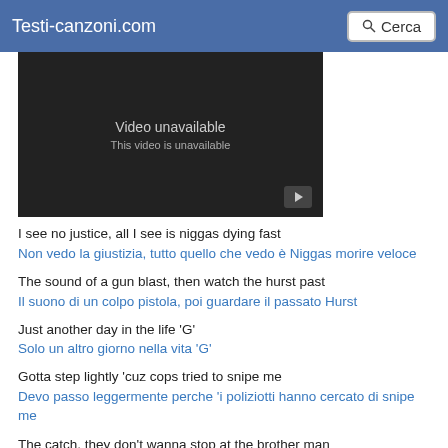Testi-canzoni.com   Cerca
[Figure (screenshot): Embedded video player showing 'Video unavailable / This video is unavailable' message on dark background with play button icon]
I see no justice, all I see is niggas dying fast
Non vedo la giustizia, tutto quello che vedo è Niggas morire veloce
The sound of a gun blast, then watch the hurst past
Il suono di un colpo pistola, poi guardare il passato Hurst
Just another day in the life 'G'
Solo un altro giorno nella vita 'G'
Gotta step lightly 'cuz cops tried to snipe me
Devo passo leggermente perche 'i poliziotti hanno cercato di snipe me
The catch, they don't wanna stop at the brother man
La cattura, che non voglio smettere l'uomo fratello